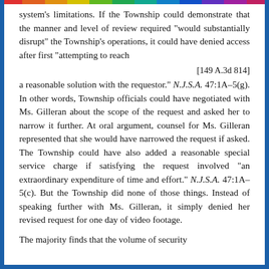system's limitations. If the Township could demonstrate that the manner and level of review required "would substantially disrupt" the Township's operations, it could have denied access after first "attempting to reach
[149 A.3d 814]
a reasonable solution with the requestor." N.J.S.A. 47:1A-5(g). In other words, Township officials could have negotiated with Ms. Gilleran about the scope of the request and asked her to narrow it further. At oral argument, counsel for Ms. Gilleran represented that she would have narrowed the request if asked. The Township could have also added a reasonable special service charge if satisfying the request involved "an extraordinary expenditure of time and effort." N.J.S.A. 47:1A-5(c). But the Township did none of those things. Instead of speaking further with Ms. Gilleran, it simply denied her revised request for one day of video footage.
The majority finds that the volume of security...